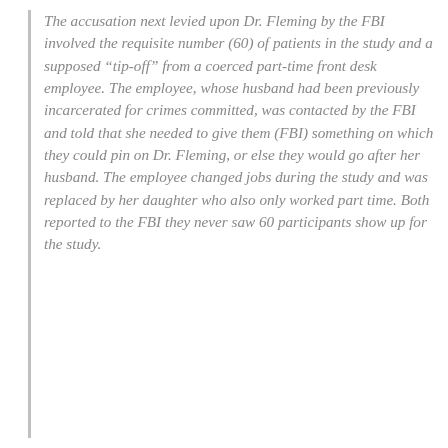The accusation next levied upon Dr. Fleming by the FBI involved the requisite number (60) of patients in the study and a supposed “tip-off” from a coerced part-time front desk employee. The employee, whose husband had been previously incarcerated for crimes committed, was contacted by the FBI and told that she needed to give them (FBI) something on which they could pin on Dr. Fleming, or else they would go after her husband. The employee changed jobs during the study and was replaced by her daughter who also only worked part time. Both reported to the FBI they never saw 60 participants show up for the study.